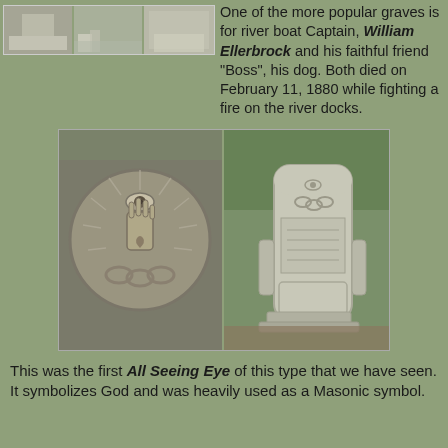[Figure (photo): Three grayscale/sepia photos of gravestones arranged in a horizontal strip at the top of the page.]
One of the more popular graves is for river boat Captain, William Ellerbrock and his faithful friend "Boss", his dog. Both died on February 11, 1880 while fighting a fire on the river docks.
[Figure (photo): Two side-by-side photos: left shows a close-up of a carved gravestone medallion with an All Seeing Eye above a hand with rays, surrounded by a chain; right shows the full gravestone in a cemetery setting with similar carvings.]
This was the first All Seeing Eye of this type that we have seen. It symbolizes God and was heavily used as a Masonic symbol.